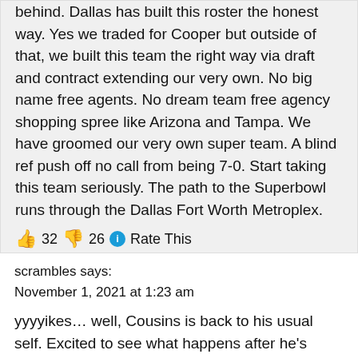behind. Dallas has built this roster the honest way. Yes we traded for Cooper but outside of that, we built this team the right way via draft and contract extending our very own. No big name free agents. No dream team free agency shopping spree like Arizona and Tampa. We have groomed our very own super team. A blind ref push off no call from being 7-0. Start taking this team seriously. The path to the Superbowl runs through the Dallas Fort Worth Metroplex.
👍 32 👎 26 ℹ Rate This
scrambles says:
November 1, 2021 at 1:23 am
yyyyikes… well, Cousins is back to his usual self. Excited to see what happens after he's moved on.
👍 32 👎 3 ℹ Rate This
azcardsfan4life says:
November 1, 2021 at 1:40 am